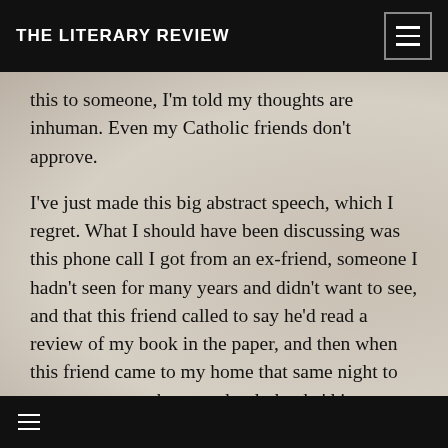THE LITERARY REVIEW
this to someone, I'm told my thoughts are inhuman. Even my Catholic friends don't approve.
I've just made this big abstract speech, which I regret. What I should have been discussing was this phone call I got from an ex-friend, someone I hadn't seen for many years and didn't want to see, and that this friend called to say he'd read a review of my book in the paper, and then when this friend came to my home that same night to get my autograph on my book that he'd just bought (but naturally hadn't read), what I should have told this friend was: go away. I don't want to see you. Instead, I was polite
≡